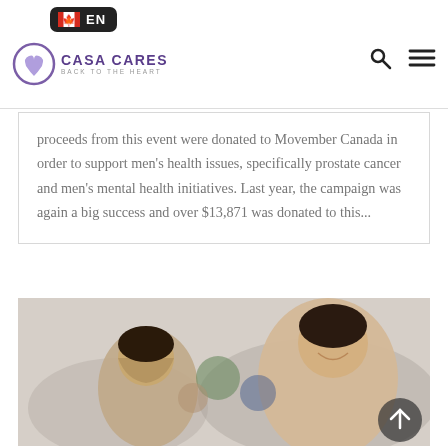[Figure (logo): Casa Cares logo with purple heart and hands, text CASA CARES BACK TO THE HEART, with Canadian flag EN language badge and navigation search and menu icons]
proceeds from this event were donated to Movember Canada in order to support men’s health issues, specifically prostate cancer and men’s mental health initiatives. Last year, the campaign was again a big success and over $13,871 was donated to this...
[Figure (photo): People sitting around tables at an indoor event, smiling and interacting, casual setting]